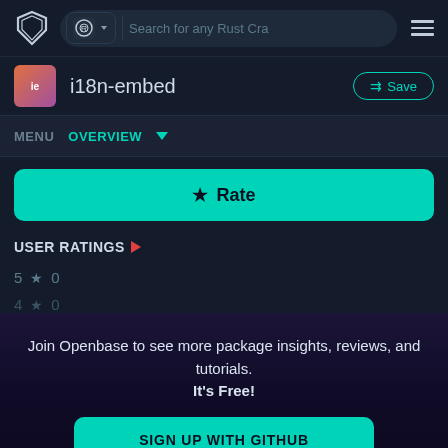[Figure (screenshot): Openbase navigation bar with shield logo, Rust crate search box, and hamburger menu]
i18n-embed
⇉ Save
MENU  OVERVIEW ▾
★ Rate
USER RATINGS ▶
5 ★ 0
4 ★ 0
Join Openbase to see more package insights, reviews, and tutorials. It's Free!
SIGN UP WITH GITHUB
By signing up, you agree to our terms and privacy policy